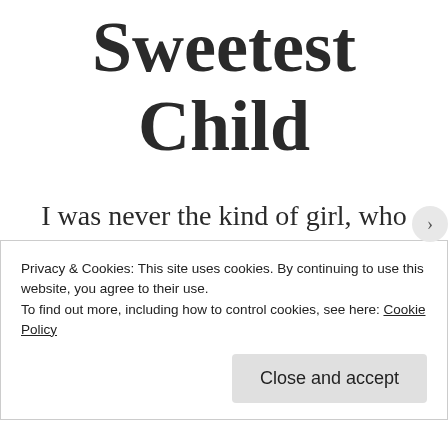Sweetest Child
I was never the kind of girl, who would stop in the middle of a mall to play with babies. I refrained
Privacy & Cookies: This site uses cookies. By continuing to use this website, you agree to their use. To find out more, including how to control cookies, see here: Cookie Policy